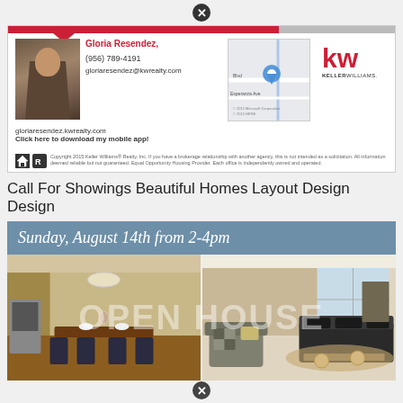[Figure (screenshot): Keller Williams agent contact card with photo, name, phone, email, map, and KW logo]
Gloria Resendez,
(956) 789-4191
gloriaresendez@kwrealty.com
gloriaresendez.kwrealty.com
Click here to download my mobile app!
Copyright 2015 Keller Williams® Realty, Inc. If you have a brokerage relationship with another agency, this is not intended as a solicitation. All information deemed reliable but not guaranteed. Equal Opportunity Housing Provider. Each office is independently owned and operated.
Call For Showings Beautiful Homes Layout Design Design
[Figure (infographic): Open house promotional banner with date 'Sunday, August 14th from 2-4pm' over blue background, with two interior home photos and large OPEN HOUSE watermark overlay]